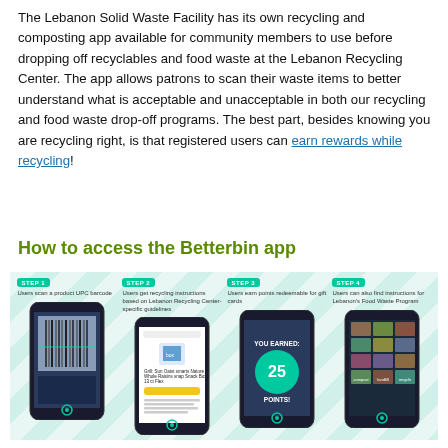The Lebanon Solid Waste Facility has its own recycling and composting app available for community members to use before dropping off recyclables and food waste at the Lebanon Recycling Center. The app allows patrons to scan their waste items to better understand what is acceptable and unacceptable in both our recycling and food waste drop-off programs. The best part, besides knowing you are recycling right, is that registered users can earn rewards while recycling!
How to access the Betterbin app
[Figure (infographic): Four smartphone screenshots showing steps of the Betterbin app: Step 1 - Users scan a product UPC barcode, Step 2 - Users get recycling instructions based on Lebanon Recycling Center-specific guidelines, Step 3 - Users earn points redeemable for gift cards, Step 4 - Users can also find instructions for Lebanon's Food Waste Program.]